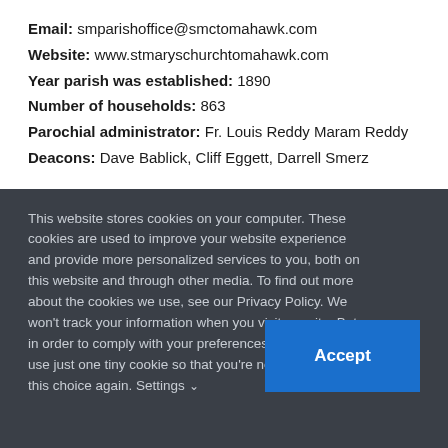Email: smparishoffice@smctomahawk.com
Website: www.stmaryschurchtomahawk.com
Year parish was established: 1890
Number of households: 863
Parochial administrator: Fr. Louis Reddy Maram Reddy
Deacons: Dave Bablick, Cliff Eggett, Darrell Smerz
This website stores cookies on your computer. These cookies are used to improve your website experience and provide more personalized services to you, both on this website and through other media. To find out more about the cookies we use, see our Privacy Policy. We won't track your information when you visit our site. But in order to comply with your preferences, we'll have to use just one tiny cookie so that you're not asked to make this choice again. Settings